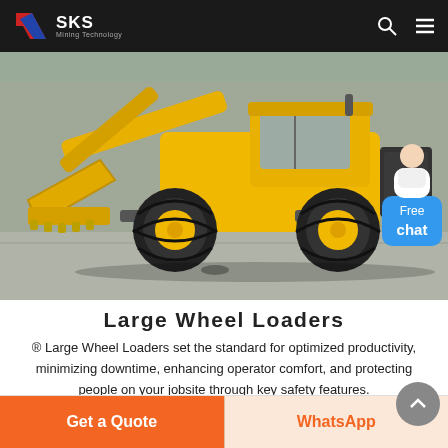SKS Mining Technology
[Figure (photo): A large yellow wheel loader photographed from the side on a concrete surface. The machine has a front-mounted bucket arm raised slightly, large black tires with yellow rims, and a yellow cab. Background shows a grey industrial building.]
Large Wheel Loaders
® Large Wheel Loaders set the standard for optimized productivity, minimizing downtime, enhancing operator comfort, and protecting people on your jobsite through key safety features.
Get a Quote   WhatsApp